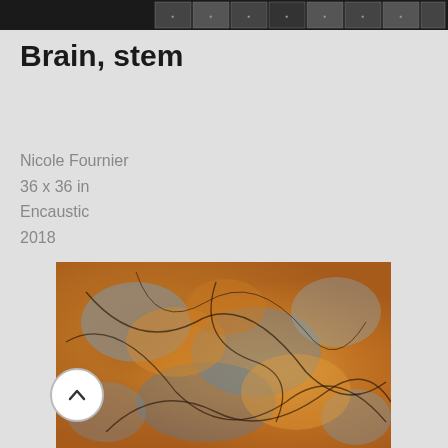[Figure (photo): A horizontal strip of small thumbnail images on a dark/black background at the top of the page, showing various artworks]
Brain, stem
Nicole Fournier
36 x 36 in
Encaustic
2018
[Figure (photo): An encaustic painting with abstract swirling forms in warm orange, amber, and yellow tones with blue-grey accents and dark linear marks, titled 'Brain, stem' by Nicole Fournier]